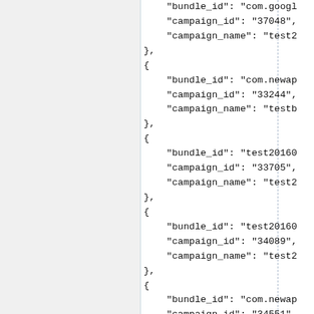JSON code snippet showing bundle_id, campaign_id, campaign_name fields for multiple objects